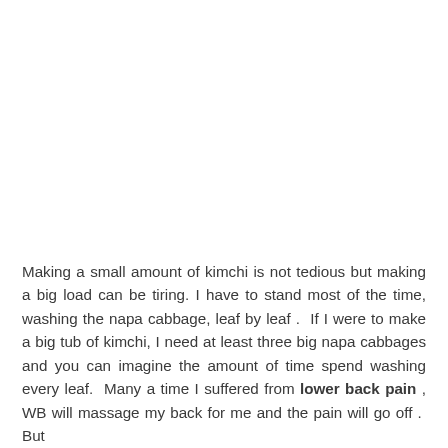Making a small amount of kimchi is not tedious but making a big load can be tiring. I have to stand most of the time, washing the napa cabbage, leaf by leaf . If I were to make a big tub of kimchi, I need at least three big napa cabbages and you can imagine the amount of time spend washing every leaf. Many a time I suffered from lower back pain , WB will massage my back for me and the pain will go off . But